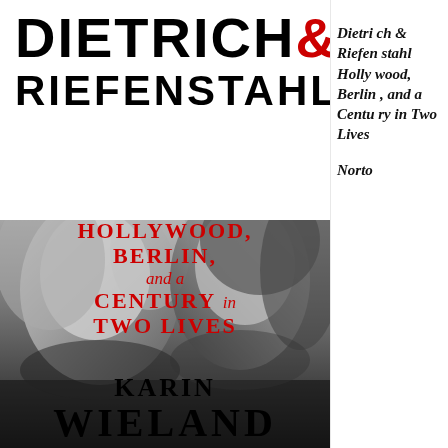[Figure (illustration): Book cover of 'Dietrich & Riefenstahl: Hollywood, Berlin, and a Century in Two Lives' by Karin Wieland. Features large bold title text at top, red subtitle text over a black-and-white photo of two women's faces (Marlene Dietrich on the left and Leni Riefenstahl on the right).]
Dietrich & Riefenstahl Hollywood, Berlin, and a Century in Two Lives Norton